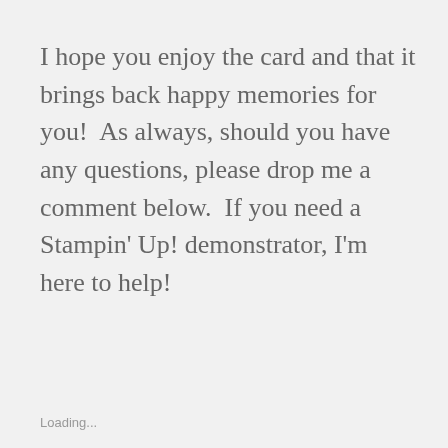I hope you enjoy the card and that it brings back happy memories for you!  As always, should you have any questions, please drop me a comment below.  If you need a Stampin' Up! demonstrator, I'm here to help!
Share this:
Loading...